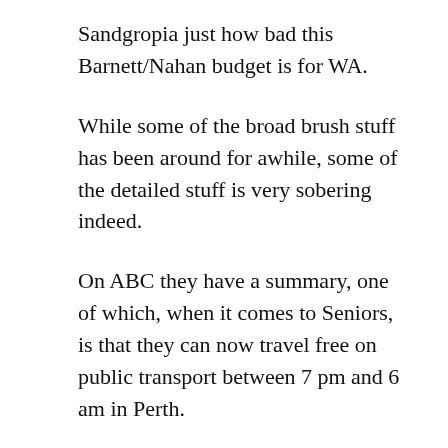Sandgropia just how bad this Barnett/Nahan budget is for WA.
While some of the broad brush stuff has been around for awhile, some of the detailed stuff is very sobering indeed.
On ABC they have a summary, one of which, when it comes to Seniors, is that they can now travel free on public transport between 7 pm and 6 am in Perth.
That should get all the oldies jiving in Northbridge (Perth’s so-called entertainment/cafe area). This venue is really safe for oldies as it is only the kids who get